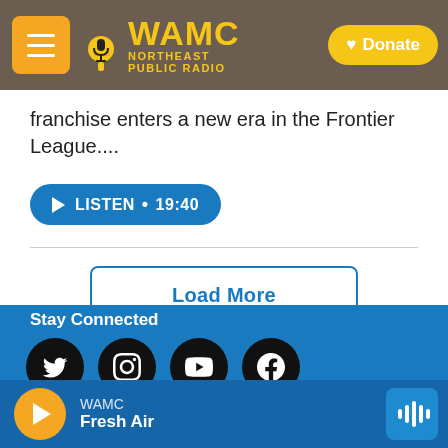[Figure (screenshot): WAMC Northeast Public Radio website header with logo, hamburger menu, and Donate button]
franchise enters a new era in the Frontier League....
LISTEN • 19:40
Load More
Stay Connected
[Figure (infographic): Social media icons: Twitter, Instagram, YouTube, Facebook]
© 2022
WAMC
Fresh Air